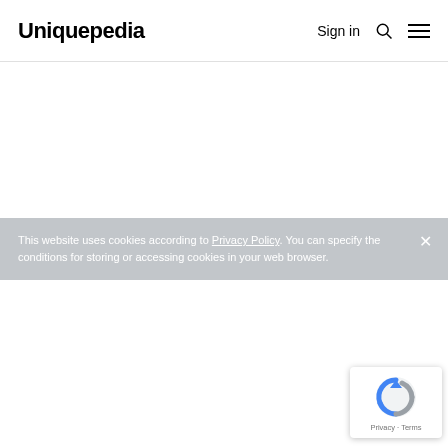Uniquepedia   Sign in
This website uses cookies according to Privacy Policy. You can specify the conditions for storing or accessing cookies in your web browser.
[Figure (logo): Google reCAPTCHA badge with spinning arrow logo icon and Privacy · Terms links]